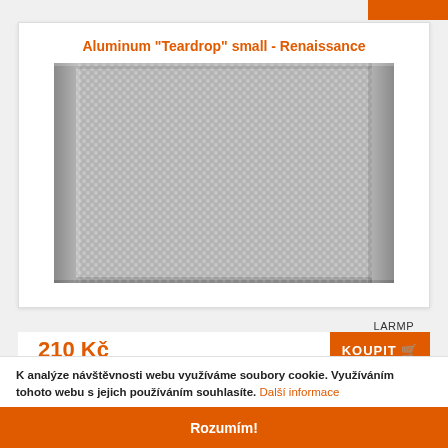Aluminum "Teardrop" small - Renaissance
[Figure (photo): Close-up photo of aluminum teardrop small mesh/grid material with woven pattern in silver/grey tones, rectangular shape with metal frame edges]
LARMP
210 Kč
KOUPIT
K analýze návštěvnosti webu využíváme soubory cookie. Využíváním tohoto webu s jejich používáním souhlasíte. Další informace
Rozumím!